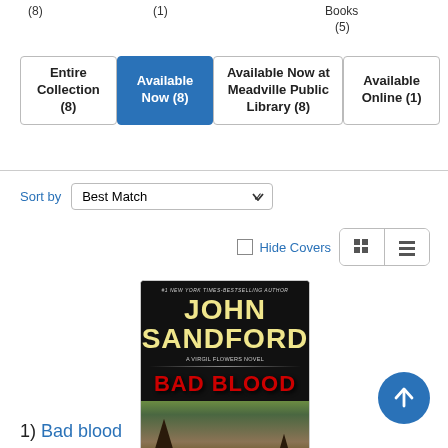(8)  (1)  Books (5)
Entire Collection (8)  |  Available Now (8)  |  Available Now at Meadville Public Library (8)  |  Available Online (1)
Sort by  Best Match
Hide Covers
[Figure (screenshot): Book cover for 'Bad Blood' by John Sandford - dark background with author name in gold and title in red, landscape scenery at bottom]
☆☆☆☆☆
1) Bad blood